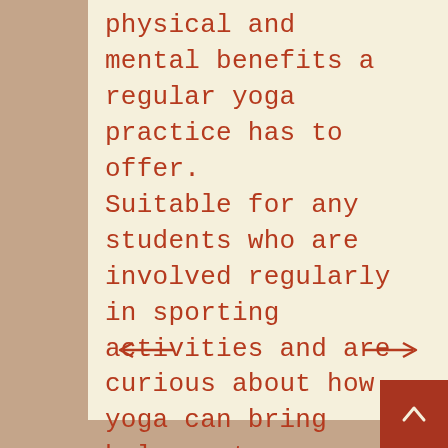physical and mental benefits a regular yoga practice has to offer.
Suitable for any students who are involved regularly in sporting activities and are curious about how yoga can bring balance to every aspect of their lives.